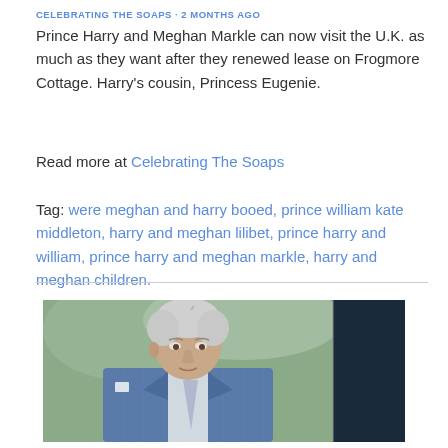CELEBRATING THE SOAPS · 2 MONTHS AGO
Prince Harry and Meghan Markle can now visit the U.K. as much as they want after they renewed lease on Frogmore Cottage. Harry's cousin, Princess Eugenie.
Read more at Celebrating The Soaps
Tag: were meghan and harry booed, prince william kate middleton, harry and meghan lilibet, prince harry and william, prince harry and meghan markle, harry and meghan children.
[Figure (photo): Photo of an elderly man with white/grey hair wearing a blue pinstripe suit with a white pocket square, appears to be Prince Charles. A partial figure in dark clothing is visible on the right edge. Background is soft green/outdoor.]